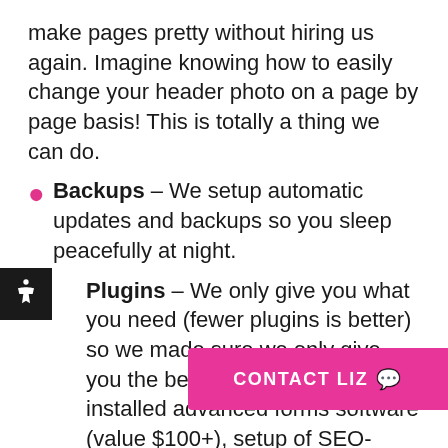make pages pretty without hiring us again. Imagine knowing how to easily change your header photo on a page by page basis! This is totally a thing we can do.
Backups – We setup automatic updates and backups so you sleep peacefully at night.
Plugins – We only give you what you need (fewer plugins is better) so we made sure we only give you the best! Envision pre-installed advanced forms software (value $100+), setup of SEO-ready software, installation of Google Analytics, and optimization fo
Tutorial – You get a live tutorial session and